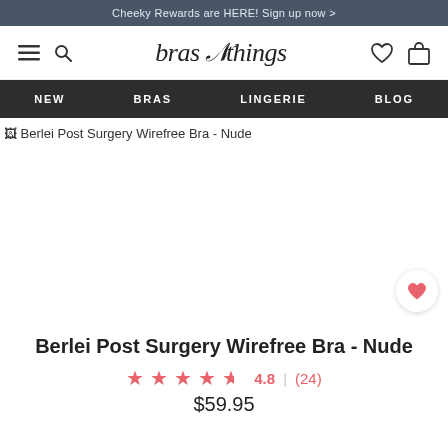Cheeky Rewards are HERE! Sign up now >
[Figure (logo): bras N things logo with hamburger menu, search icon, wishlist heart icon, and shopping bag icon]
NEW  BRAS  LINGERIE  BLOG
[Figure (photo): Berlei Post Surgery Wirefree Bra - Nude product image (broken/loading)]
Berlei Post Surgery Wirefree Bra - Nude
4.8  (24)
$59.95